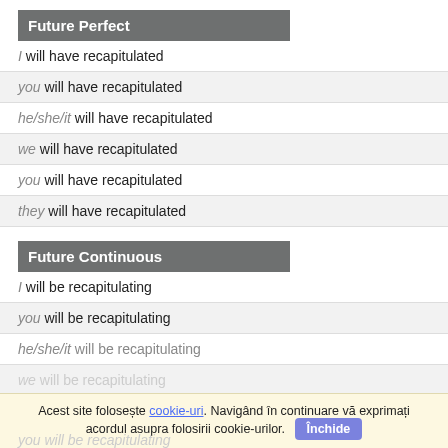Future Perfect
I will have recapitulated
you will have recapitulated
he/she/it will have recapitulated
we will have recapitulated
you will have recapitulated
they will have recapitulated
Future Continuous
I will be recapitulating
you will be recapitulating
he/she/it will be recapitulating
Acest site folosește cookie-uri. Navigând în continuare vă exprimați acordul asupra folosirii cookie-urilor. Închide